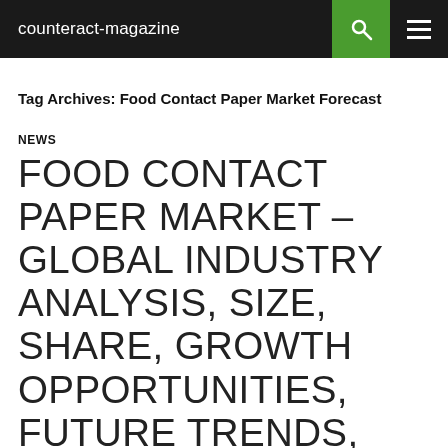counteract-magazine
Tag Archives: Food Contact Paper Market Forecast
NEWS
FOOD CONTACT PAPER MARKET – GLOBAL INDUSTRY ANALYSIS, SIZE, SHARE, GROWTH OPPORTUNITIES, FUTURE TRENDS, COVID-19 IMPACT, SWOT ANALYSIS